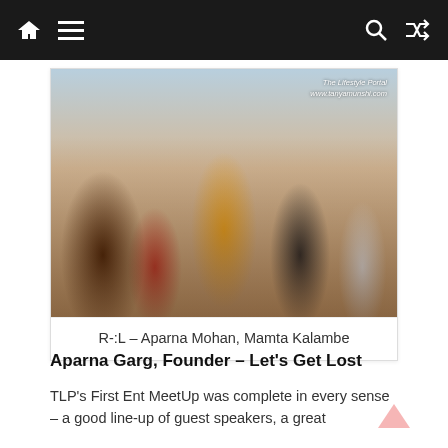Navigation bar with home, menu, search, and shuffle icons
[Figure (photo): Group of women sitting at a table at a meetup event, smiling and engaged. Watermark reads: The Lifestyle Portal www.tanyamunshi.com]
R-:L – Aparna Mohan, Mamta Kalambe
Aparna Garg, Founder – Let's Get Lost
TLP's First Ent MeetUp was complete in every sense – a good line-up of guest speakers, a great